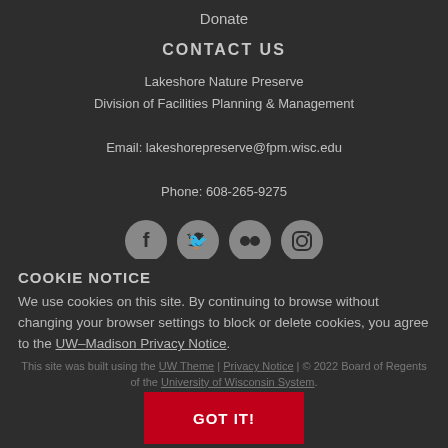Donate
CONTACT US
Lakeshore Nature Preserve
Division of Facilities Planning & Management
Email: lakeshorepreserve@fpm.wisc.edu
Phone: 608-265-9275
[Figure (illustration): Four social media icons in grey circles: Facebook, Twitter, Flickr, Instagram]
COOKIE NOTICE
We use cookies on this site. By continuing to browse without changing your browser settings to block or delete cookies, you agree to the UW–Madison Privacy Notice.
This site was built using the UW Theme | Privacy Notice | © 2022 Board of Regents of the University of Wisconsin System.
GOT IT!